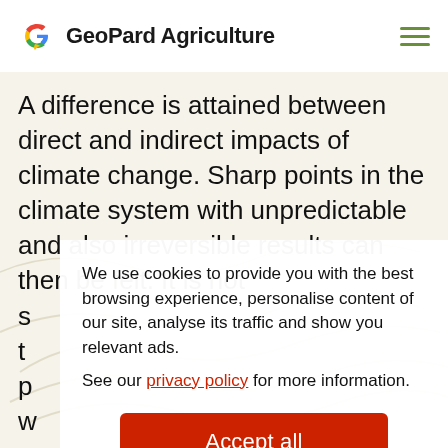GeoPard Agriculture
A difference is attained between direct and indirect impacts of climate change. Sharp points in the climate system with unpredictable and also irreversible results can then be felt. It is not s t p w e c
We use cookies to provide you with the best browsing experience, personalise content of our site, analyse its traffic and show you relevant ads.
See our privacy policy for more information.
Accept all